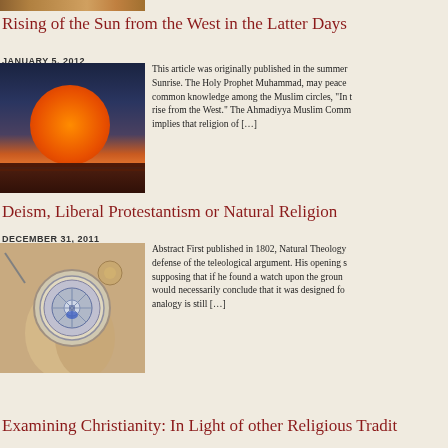[Figure (photo): Partial top image cropped at top of page]
Rising of the Sun from the West in the Latter Days
JANUARY 5, 2012
[Figure (photo): Sunset over water with large orange sun]
This article was originally published in the summer of Sunrise. The Holy Prophet Muhammad, may peace common knowledge among the Muslim circles, "In the rise from the West." The Ahmadiyya Muslim Comm implies that religion of [...]
Deism, Liberal Protestantism or Natural Religion
DECEMBER 31, 2011
[Figure (photo): Close-up of watch gears and mechanisms being held]
Abstract First published in 1802, Natural Theology defense of the teleological argument. His opening s supposing that if he found a watch upon the groun would necessarily conclude that it was designed fo analogy is still [...]
Examining Christianity: In Light of other Religious Tradit